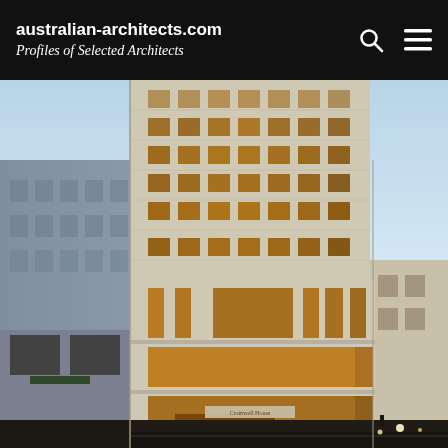australian-architects.com
Profiles of Selected Architects
[Figure (photo): Exterior photograph of a modern multi-story building (Cromwell House) at dusk/dawn, featuring a beige/cream stone facade with regularly spaced rectangular windows with warm amber lighting inside. The building rises tall in the center with a lower plinth section at street level showing large glazed retail/lobby floors. Adjacent older buildings are visible on the left (blue-grey) and right sides. Street lights and a pedestrian are visible at the bottom. The building's entrance signage reads 'Cromwell House'.]